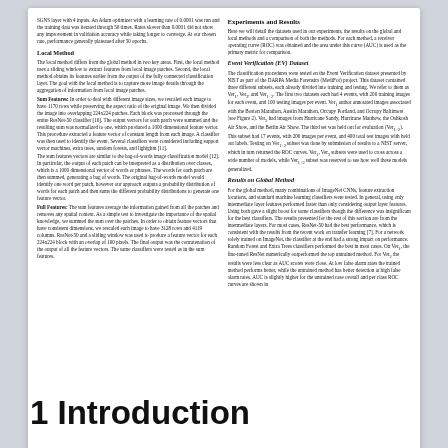Left column: local method and features description text from a scientific paper about image classification using ResNet-50 and feature extraction methods.
Experiments and Results
Event Verification (EV) Dataset
Results on Global Method
Author attribution: M. Goebel, et al. · share
1 Introduction